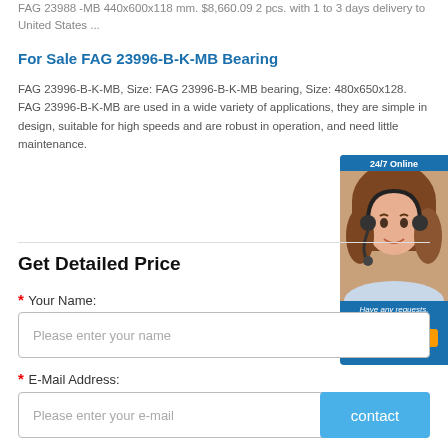FAG 23988 -MB 440x600x118 mm. $8,660.09 2 pcs. with 1 to 3 days delivery to United States ...
For Sale FAG 23996-B-K-MB Bearing
FAG 23996-B-K-MB, Size: FAG 23996-B-K-MB bearing, Size: 480x650x128. FAG 23996-B-K-MB are used in a wide variety of applications, they are simple in design, suitable for high speeds and are robust in operation, and need little maintenance.
[Figure (illustration): 24/7 Online chat widget with a woman wearing a headset. Text: 'Have any requests, click here.' with an orange Quotation button.]
Get Detailed Price
* Your Name:
Please enter your name
* E-Mail Address:
Please enter your e-mail
contact